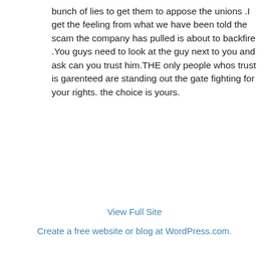bunch of lies to get them to appose the unions .I get the feeling from what we have been told the scam the company has pulled is about to backfire .You guys need to look at the guy next to you and ask can you trust him.THE only people whos trust is garenteed are standing out the gate fighting for your rights. the choice is yours.
View Full Site
Create a free website or blog at WordPress.com.